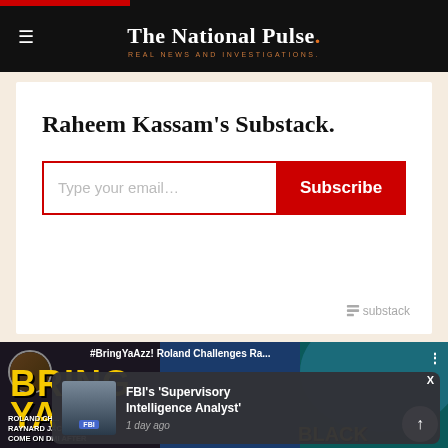The National Pulse. — REAL NEWS AND INVESTIGATIONS.
Raheem Kassam's Substack.
[Figure (screenshot): Email subscription widget for Raheem Kassam's Substack with email input field and red Subscribe button, plus Substack logo]
[Figure (screenshot): Video thumbnail showing '#BringYaAzz! Roland Challenges Ra...' with avatar, yellow BRING YA text overlay, dark background, and a popup notification for 'FBI's Supervisory Intelligence Analyst' from 1 day ago]